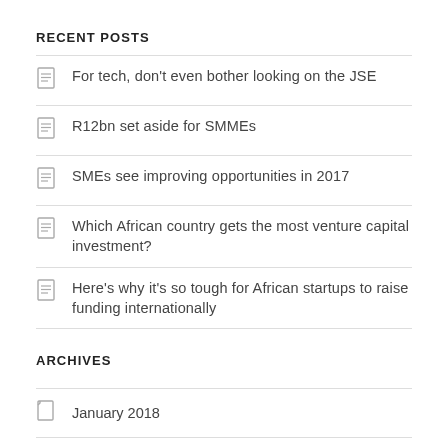RECENT POSTS
For tech, don't even bother looking on the JSE
R12bn set aside for SMMEs
SMEs see improving opportunities in 2017
Which African country gets the most venture capital investment?
Here's why it's so tough for African startups to raise funding internationally
ARCHIVES
January 2018